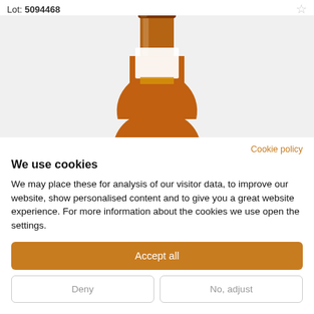Lot: 5094468
[Figure (photo): Auction lot photo showing top portion of a whisky bottle with amber liquid, clear glass neck, brown cap, and white label area, on a light grey background.]
Cookie policy
We use cookies
We may place these for analysis of our visitor data, to improve our website, show personalised content and to give you a great website experience. For more information about the cookies we use open the settings.
Accept all
Deny
No, adjust